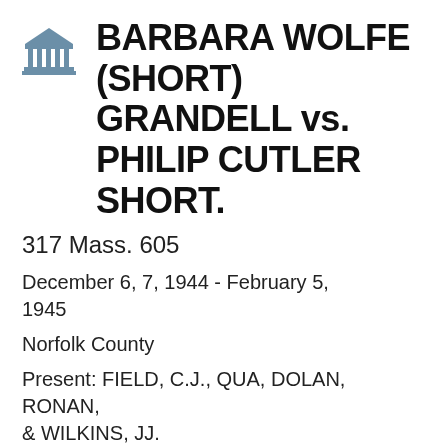BARBARA WOLFE (SHORT) GRANDELL vs. PHILIP CUTLER SHORT.
317 Mass. 605
December 6, 7, 1944 - February 5, 1945
Norfolk County
Present: FIELD, C.J., QUA, DOLAN, RONAN, & WILKINS, JJ.